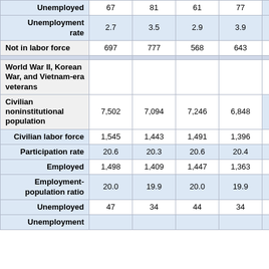|  | Col1 | Col2 | Col3 | Col4 |  |
| --- | --- | --- | --- | --- | --- |
| Unemployed | 67 | 81 | 61 | 77 |  |
| Unemployment rate | 2.7 | 3.5 | 2.9 | 3.9 |  |
| Not in labor force | 697 | 777 | 568 | 643 |  |
| World War II, Korean War, and Vietnam-era veterans |  |  |  |  |  |
| Civilian noninstitutional population | 7,502 | 7,094 | 7,246 | 6,848 |  |
| Civilian labor force | 1,545 | 1,443 | 1,491 | 1,396 |  |
| Participation rate | 20.6 | 20.3 | 20.6 | 20.4 |  |
| Employed | 1,498 | 1,409 | 1,447 | 1,363 |  |
| Employment-population ratio | 20.0 | 19.9 | 20.0 | 19.9 |  |
| Unemployed | 47 | 34 | 44 | 34 |  |
| Unemployment |  |  |  |  |  |